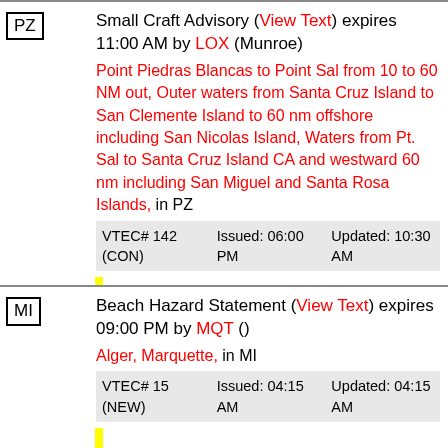PZ | Small Craft Advisory (View Text) expires 11:00 AM by LOX (Munroe)
Point Piedras Blancas to Point Sal from 10 to 60 NM out, Outer waters from Santa Cruz Island to San Clemente Island to 60 nm offshore including San Nicolas Island, Waters from Pt. Sal to Santa Cruz Island CA and westward 60 nm including San Miguel and Santa Rosa Islands, in PZ
VTEC# 142 (CON)   Issued: 06:00 PM   Updated: 10:30 AM
MI | Beach Hazard Statement (View Text) expires 09:00 PM by MQT ()
Alger, Marquette, in MI
VTEC# 15 (NEW)   Issued: 04:15 AM   Updated: 04:15 AM